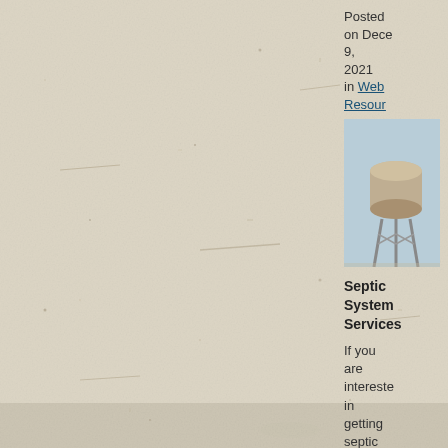[Figure (photo): Textured off-white/beige paper background with visible fibers and speckles]
Posted on December 9, 2021 in Web Resources
[Figure (photo): Water tower against a light blue sky]
Septic System Services
If you are interested in getting septic tank